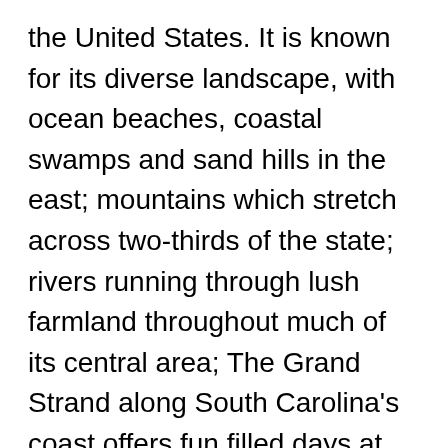the United States. It is known for its diverse landscape, with ocean beaches, coastal swamps and sand hills in the east; mountains which stretch across two-thirds of the state; rivers running through lush farmland throughout much of its central area; The Grand Strand along South Carolina's coast offers fun filled days at the beach, golfing and great seafood.
South Carolina has a population of around five million people, so you will have a city nearby when needing to visit or for work. The weather in South Carolina is temperate, with